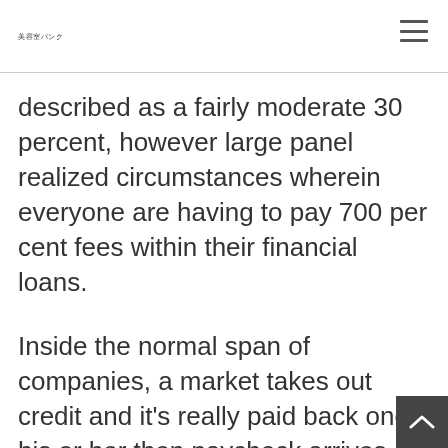美容室バンク
described as a fairly moderate 30 percent, however large panel realized circumstances wherein everyone are having to pay 700 per cent fees within their financial loans.
Inside the normal span of companies, a market takes out credit and it's really paid back once his or her then paycheck arrives. The large court alleged that Tucker's ventures would get just the fee fee in the holder's pay day by leaving t